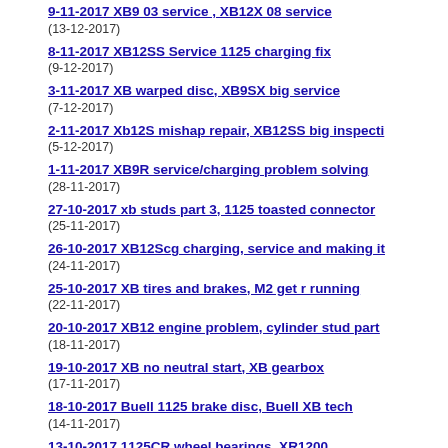9-11-2017 XB9 03 service , XB12X 08 service
(13-12-2017)
8-11-2017 XB12SS Service 1125 charging fix
(9-12-2017)
3-11-2017 XB warped disc, XB9SX big service
(7-12-2017)
2-11-2017 Xb12S mishap repair, XB12SS big inspecti
(5-12-2017)
1-11-2017 XB9R service/charging problem solving
(28-11-2017)
27-10-2017 xb studs part 3, 1125 toasted connector
(25-11-2017)
26-10-2017 XB12Scg charging, service and making it
(24-11-2017)
25-10-2017 XB tires and brakes, M2 get r running
(22-11-2017)
20-10-2017 XB12 engine problem, cylinder stud part
(18-11-2017)
19-10-2017 XB no neutral start, XB gearbox
(17-11-2017)
18-10-2017 Buell 1125 brake disc, Buell XB tech
(14-11-2017)
13-10-2017.1125CR wheel bearings, XR1200
(9-11-2017)
11-10-2017 XB12S making it run 1125 Torq Hammer
(7-11-2017)